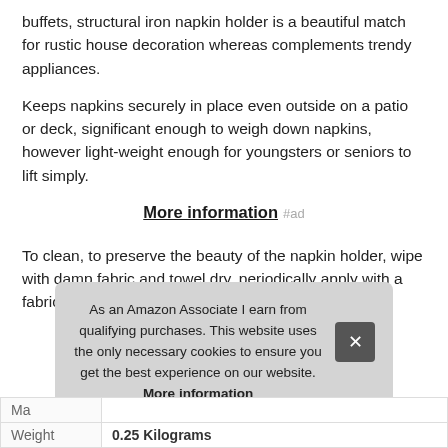buffets, structural iron napkin holder is a beautiful match for rustic house decoration whereas complements trendy appliances.
Keeps napkins securely in place even outside on a patio or deck, significant enough to weigh down napkins, however light-weight enough for youngsters or seniors to lift simply.
More information #ad
To clean, to preserve the beauty of the napkin holder, wipe with damp fabric and towel dry, periodically apply with a fabric or towel and let dry long. Size: 7" x 7" x 2".
As an Amazon Associate I earn from qualifying purchases. This website uses the only necessary cookies to ensure you get the best experience on our website. More information
| Ma |  |
| Weight | 0.25 Kilograms |